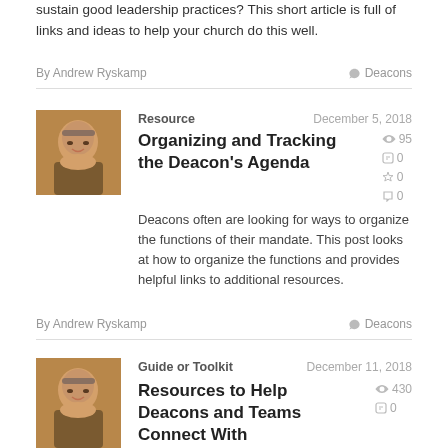sustain good leadership practices? This short article is full of links and ideas to help your church do this well.
By Andrew Ryskamp
Deacons
Resource
December 5, 2018
Organizing and Tracking the Deacon's Agenda
95 views, 0 Facebook shares, 0 likes, 0 comments
Deacons often are looking for ways to organize the functions of their mandate. This post looks at how to organize the functions and provides helpful links to additional resources.
By Andrew Ryskamp
Deacons
Guide or Toolkit
December 11, 2018
Resources to Help Deacons and Teams Connect With
430 views, 0 Facebook shares